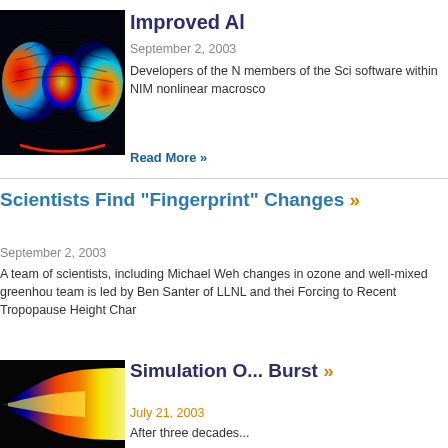[Figure (photo): False-color scientific visualization showing brain or particle physics data with rainbow color mapping on dark background]
Improved Al
September 2, 2003
Developers of the N... members of the Sci... software within NIM... nonlinear macrosco...
Read More »
Scientists Find "Fingerprint" Changes »
September 2, 2003
A team of scientists, including Michael Weh... changes in ozone and well-mixed greenhou... team is led by Ben Santer of LLNL and thei... Forcing to Recent Tropopause Height Char...
[Figure (photo): False-color scientific visualization showing a jet or plume in warm colors (red, orange, yellow) against a dark background]
Simulation O... Burst »
July 21, 2003
After three decades...